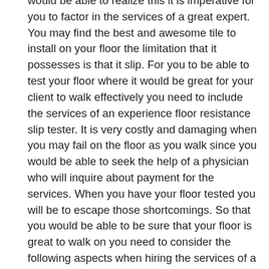would be able to realize this it is imperative for you to factor in the services of a great expert. You may find the best and awesome tile to install on your floor the limitation that it possesses is that it slip. For you to be able to test your floor where it would be great for your client to walk effectively you need to include the services of an experience floor resistance slip tester. It is very costly and damaging when you may fail on the floor as you walk since you would be able to seek the help of a physician who will inquire about payment for the services. When you have your floor tested you will be to escape those shortcomings. So that you would be able to be sure that your floor is great to walk on you need to consider the following aspects when hiring the services of a floor slip resistance expert.
It is essential for you to make sure that you consider the cost. You need to make sure that you factor in hiring an expert who charges for his/her service at a cost that you will be able to accommodate. It would be at your own pressure to hire an expert whom you will be able without much struggle.
Another tip that you need to consider is the experience of the expert. You need to consider the experience of the expert for you